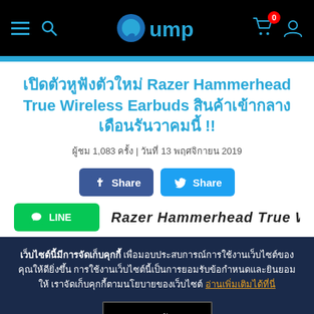Pump website header with hamburger menu, search icon, Pump logo, cart (0), and user icon
เปิดตัวหูฟังตัวใหม่ Razer Hammerhead True Wireless Earbuds สินค้าเข้ากลางเดือนรันวาคมนี้ !!
ผู้ชม 1,083 ครั้ง | วันที่ 13 พฤศจิกายน 2019
Share buttons: Facebook Share, Twitter Share, Line
เว็บไซต์นี้มีการจัดเก็บคุกกี้ เพื่อมอบประสบการณ์การใช้งานเว็บไซต์ของคุณให้ดียิ่งขึ้น การใช้งานเว็บไซต์นี้เป็นการยอมรับข้อกำหนดและยินยอมให้เราจัดเก็บคุกกี้ตามนโยบายของเว็บไซต์ อ่านเพิ่มเติมได้ที่นี่
ยอมรับ